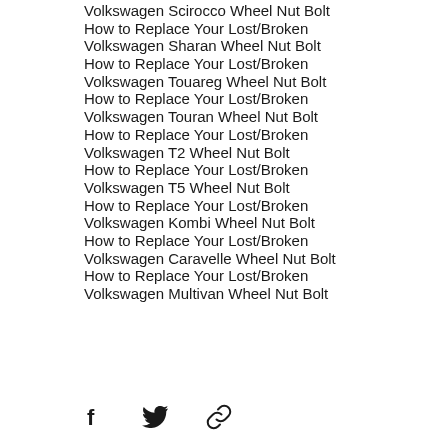Volkswagen Scirocco Wheel Nut Bolt
How to Replace Your Lost/Broken Volkswagen Sharan Wheel Nut Bolt
How to Replace Your Lost/Broken Volkswagen Touareg Wheel Nut Bolt
How to Replace Your Lost/Broken Volkswagen Touran Wheel Nut Bolt
How to Replace Your Lost/Broken Volkswagen T2 Wheel Nut Bolt
How to Replace Your Lost/Broken Volkswagen T5 Wheel Nut Bolt
How to Replace Your Lost/Broken Volkswagen Kombi Wheel Nut Bolt
How to Replace Your Lost/Broken Volkswagen Caravelle Wheel Nut Bolt
How to Replace Your Lost/Broken Volkswagen Multivan Wheel Nut Bolt
[Figure (other): Social share icons: Facebook, Twitter, and link/chain icon]